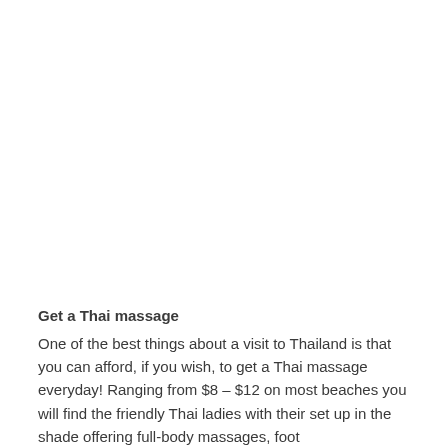Get a Thai massage
One of the best things about a visit to Thailand is that you can afford, if you wish, to get a Thai massage everyday! Ranging from $8 – $12 on most beaches you will find the friendly Thai ladies with their set up in the shade offering full-body massages, foot